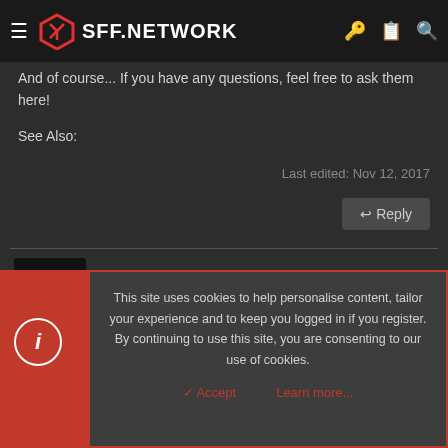SFF.NETWORK
And of course... If you have any questions, feel free to ask them here!
See Also:
Last edited: Nov 12, 2017
Reply
ondert
Airflow Optimizer
This site uses cookies to help personalise content, tailor your experience and to keep you logged in if you register.
By continuing to use this site, you are consenting to our use of cookies.
Accept   Learn more...